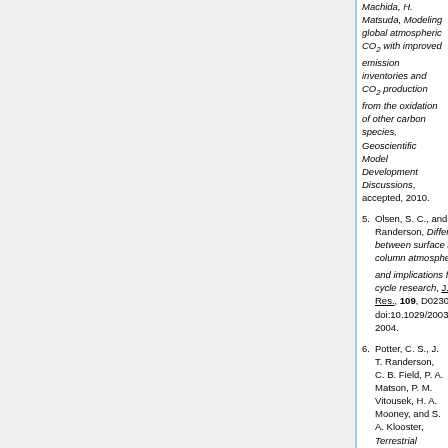Machida, H. Matsuda, Modeling global atmospheric CO2 with improved emission inventories and CO2 production from the oxidation of other carbon species, Geoscientific Model Development Discussions, accepted, 2010.
5. Olsen, S. C., and J. T. Randerson, Differences between surface and column atmospheric CO2 and implications for carbon cycle research, J. Geophys. Res., 109, D02301, doi:10.1029/2003JD003968, 2004.
6. Potter, C. S., J. T. Randerson, C. B. Field, P. A. Matson, P. M. Vitousek, H. A. Mooney, and S. A. Klooster, Terrestrial ecosystem production: A process model based on global satellite and surface data, Global